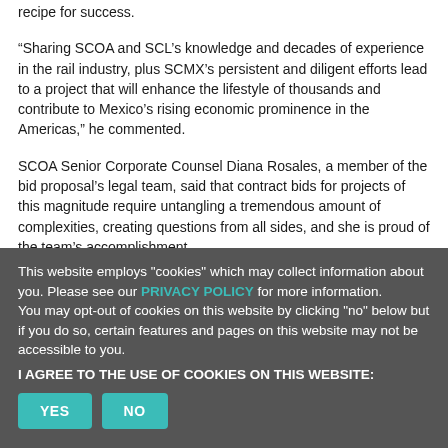recipe for success.
“Sharing SCOA and SCL’s knowledge and decades of experience in the rail industry, plus SCMX’s persistent and diligent efforts lead to a project that will enhance the lifestyle of thousands and contribute to Mexico’s rising economic prominence in the Americas,” he commented.
SCOA Senior Corporate Counsel Diana Rosales, a member of the bid proposal’s legal team, said that contract bids for projects of this magnitude require untangling a tremendous amount of complexities, creating questions from all sides, and she is proud of the team’s accomplishment.
This website employs "cookies" which may collect information about you. Please see our PRIVACY POLICY for more information.
You may opt-out of cookies on this website by clicking "no" below but if you do so, certain features and pages on this website may not be accessible to you.
I AGREE TO THE USE OF COOKIES ON THIS WEBSITE: